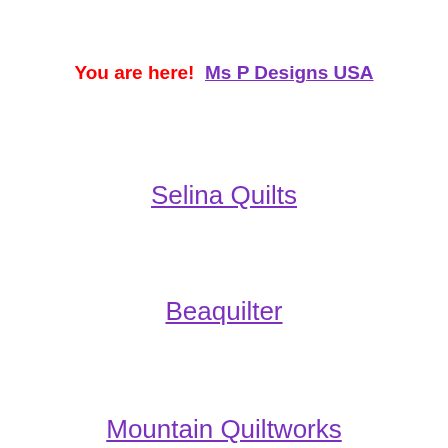You are here!  Ms P Designs USA
Selina Quilts
Beaquilter
Mountain Quiltworks
July 27
Life in the Scrapatch
Quilt n Party
Days Filled With Joy